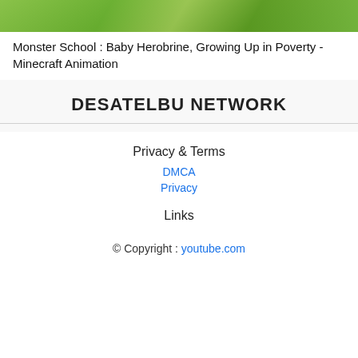[Figure (photo): Partial image of green foliage/plants visible at the top of the page]
Monster School : Baby Herobrine, Growing Up in Poverty - Minecraft Animation
DESATELBU NETWORK
Privacy & Terms
DMCA
Privacy
Links
© Copyright : youtube.com